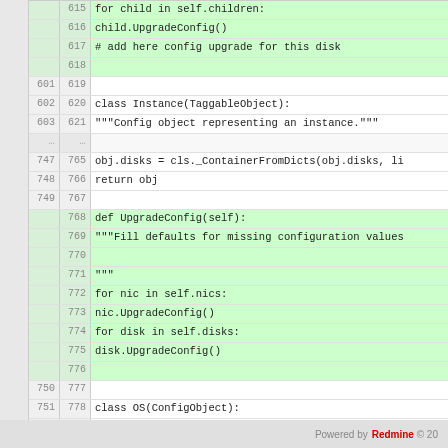[Figure (screenshot): Code diff view showing Python source code with line numbers (old and new), added lines highlighted in green. Shows class Instance and class OS definitions with UpgradeConfig methods.]
Powered by Redmine © 20...